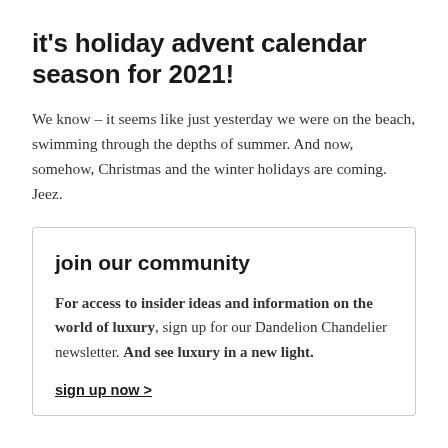it's holiday advent calendar season for 2021!
We know – it seems like just yesterday we were on the beach, swimming through the depths of summer. And now, somehow, Christmas and the winter holidays are coming. Jeez.
join our community
For access to insider ideas and information on the world of luxury, sign up for our Dandelion Chandelier newsletter. And see luxury in a new light.
sign up now >